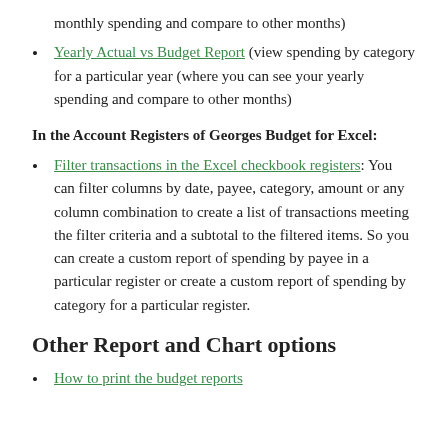monthly spending and compare to other months)
Yearly Actual vs Budget Report (view spending by category for a particular year (where you can see your yearly spending and compare to other months)
In the Account Registers of Georges Budget for Excel:
Filter transactions in the Excel checkbook registers: You can filter columns by date, payee, category, amount or any column combination to create a list of transactions meeting the filter criteria and a subtotal to the filtered items. So you can create a custom report of spending by payee in a particular register or create a custom report of spending by category for a particular register.
Other Report and Chart options
How to print the budget reports